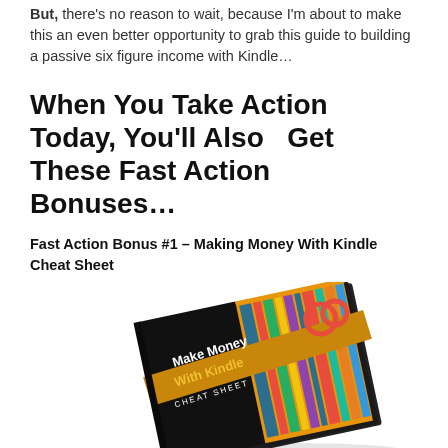But, there's no reason to wait, because I'm about to make this an even better opportunity to grab this guide to building a passive six figure income with Kindle…
When You Take Action Today, You'll Also  Get These Fast Action Bonuses…
Fast Action Bonus #1 – Making Money With Kindle Cheat Sheet
[Figure (illustration): A tilted book/magazine mockup with a colorful cover showing stacked books in flat design style. The cover reads 'Make Money With Kindle CHEAT SHEET' in white and yellow text on a black and orange background.]